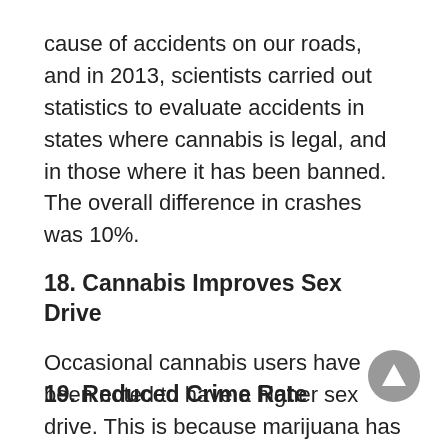cause of accidents on our roads, and in 2013, scientists carried out statistics to evaluate accidents in states where cannabis is legal, and in those where it has been banned. The overall difference in crashes was 10%.
18. Cannabis Improves Sex Drive
Occasional cannabis users have been noted to have a higher sex drive. This is because marijuana has properties that reduce stress while enhancing euphoric sensations. This way, the user's libido is increased. This applies to both genders.
[Figure (other): Gray circular scroll-to-top button with upward-pointing triangle arrow]
19. Reduced Crime Rate